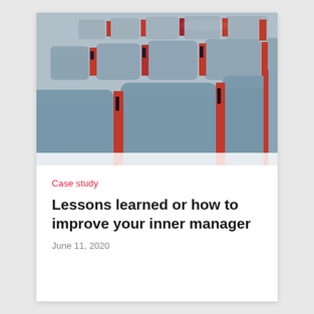[Figure (photo): Rows of gray auditorium/conference chairs with red backs/accents, shot from a low angle showing multiple rows receding into depth.]
Case study
Lessons learned or how to improve your inner manager
June 11, 2020